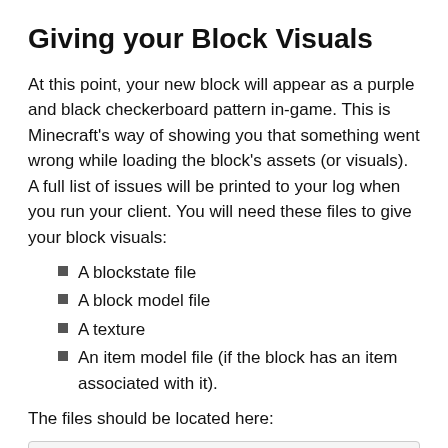Giving your Block Visuals
At this point, your new block will appear as a purple and black checkerboard pattern in-game. This is Minecraft's way of showing you that something went wrong while loading the block's assets (or visuals). A full list of issues will be printed to your log when you run your client. You will need these files to give your block visuals:
A blockstate file
A block model file
A texture
An item model file (if the block has an item associated with it).
The files should be located here:
Blockstate: src/main/resources/assets/tut
Block Model: src/main/resources/assets/tu